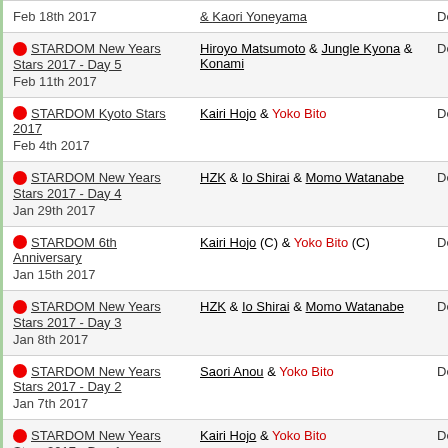| Event | Opponent | Result |
| --- | --- | --- |
| 🔴 STARDOM New Years Stars 2017 - Day 5
Feb 11th 2017 | Hiroyo Matsumoto & Jungle Kyona & Konami | Def. |
| 🔴 STARDOM Kyoto Stars 2017
Feb 4th 2017 | Kairi Hojo & Yoko Bito | Def. |
| 🔴 STARDOM New Years Stars 2017 - Day 4
Jan 29th 2017 | HZK & Io Shirai & Momo Watanabe | Def. |
| 🔴 STARDOM 6th Anniversary
Jan 15th 2017 | Kairi Hojo (C) & Yoko Bito (C) | Def. |
| 🔴 STARDOM New Years Stars 2017 - Day 3
Jan 8th 2017 | HZK & Io Shirai & Momo Watanabe | Def. |
| 🔴 STARDOM New Years Stars 2017 - Day 2
Jan 7th 2017 | Saori Anou & Yoko Bito | Def. |
| 🔴 STARDOM New Years Stars 2017 - Day 1
Jan 3rd 2017 | Kairi Hojo & Yoko Bito | Def. |